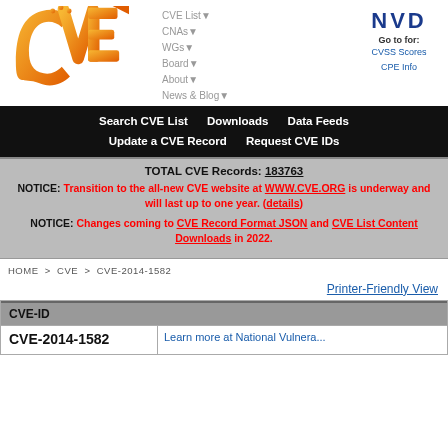[Figure (logo): CVE logo - orange gradient letters CVE with pixel dots]
CVE List▼  CNAs▼  WGs▼  Board▼  About▼  News & Blog▼
[Figure (logo): NVD logo - dark blue bold letters NVD, Go to for: CVSS Scores, CPE Info]
Search CVE List   Downloads   Data Feeds   Update a CVE Record   Request CVE IDs
TOTAL CVE Records: 183763
NOTICE: Transition to the all-new CVE website at WWW.CVE.ORG is underway and will last up to one year. (details)
NOTICE: Changes coming to CVE Record Format JSON and CVE List Content Downloads in 2022.
HOME > CVE > CVE-2014-1582
Printer-Friendly View
| CVE-ID |  |
| --- | --- |
| CVE-2014-1582 | Learn more at National Vulnera... |